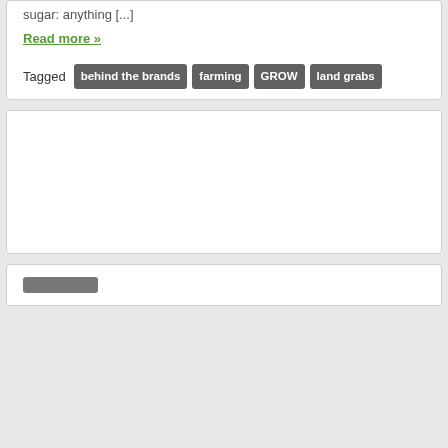sugar: anything [...]
Read more »
Tagged behind the brands farming GROW land grabs
[Figure (other): Empty white card/box with border, no visible content]
[stub tag/button partially visible at bottom]